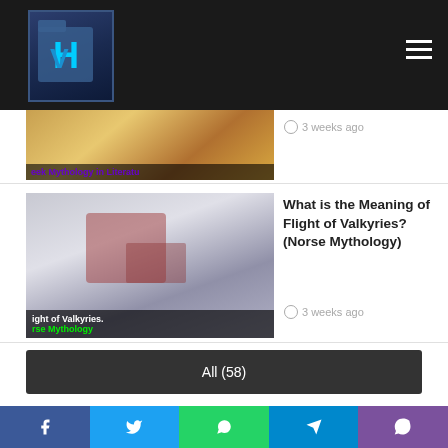VH Logo navigation header
[Figure (photo): Partial article thumbnail showing Greek Mythology in Literature]
3 weeks ago
What is the Meaning of Flight of Valkyries? (Norse Mythology)
[Figure (photo): Article thumbnail for Flight of Valkyries Norse Mythology]
3 weeks ago
All (58)
Recent Posts
Top 7 Best Norse Mythology Movies Ranked According to IMDb
[Figure (photo): Article thumbnail for Best Norse Mythology Movies]
4 days ago
Social sharing bar: Facebook, Twitter, WhatsApp, Telegram, Viber